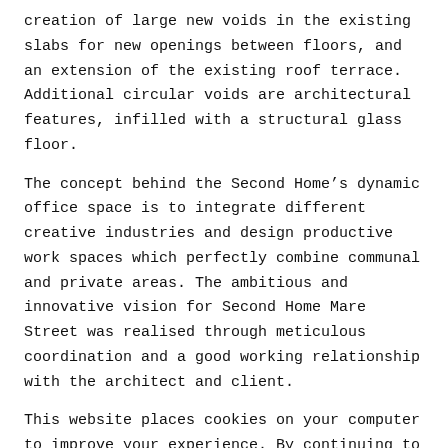creation of large new voids in the existing slabs for new openings between floors, and an extension of the existing roof terrace. Additional circular voids are architectural features, infilled with a structural glass floor.
The concept behind the Second Home’s dynamic office space is to integrate different creative industries and design productive work spaces which perfectly combine communal and private areas. The ambitious and innovative vision for Second Home Mare Street was realised through meticulous coordination and a good working relationship with the architect and client.
This website places cookies on your computer to improve your experience. By continuing to browse the site, you are agreeing to our use of cookies. For more details, see our Cookies Policy.
close